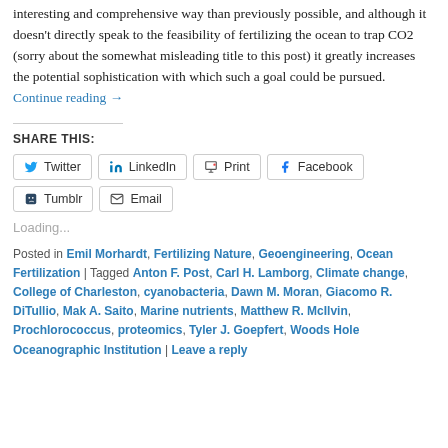interesting and comprehensive way than previously possible, and although it doesn't directly speak to the feasibility of fertilizing the ocean to trap CO2 (sorry about the somewhat misleading title to this post) it greatly increases the potential sophistication with which such a goal could be pursued. Continue reading →
SHARE THIS:
Twitter
LinkedIn
Print
Facebook
Tumblr
Email
Loading...
Posted in Emil Morhardt, Fertilizing Nature, Geoengineering, Ocean Fertilization | Tagged Anton F. Post, Carl H. Lamborg, Climate change, College of Charleston, cyanobacteria, Dawn M. Moran, Giacomo R. DiTullio, Mak A. Saito, Marine nutrients, Matthew R. McIlvin, Prochlorococcus, proteomics, Tyler J. Goepfert, Woods Hole Oceanographic Institution | Leave a reply